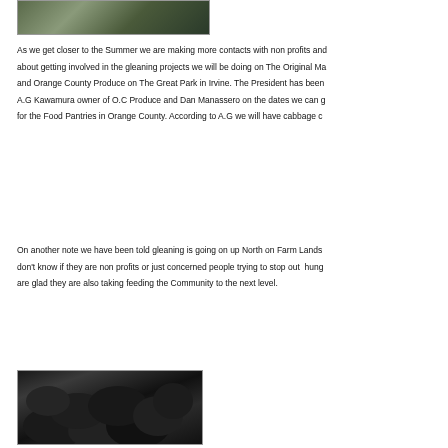[Figure (photo): Photo of people with bags of produce, partially cropped at top]
As we get closer to the Summer we are making more contacts with non profits and about getting involved in the gleaning projects we will be doing on The Original Ma and Orange County Produce on The Great Park in Irvine. The President has been A.G Kawamura owner of O.C Produce and Dan Manassero on the dates we can g for the Food Pantries in Orange County. According to A.G we will have cabbage c
On another note we have been told gleaning is going on up North on Farm Lands don't know if they are non profits or just concerned people trying to stop out  hung are glad they are also taking feeding the Community to the next level.
[Figure (photo): Photo of large black garbage bags filled with produce]